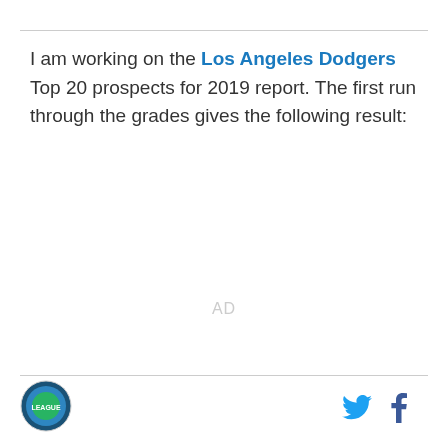I am working on the Los Angeles Dodgers Top 20 prospects for 2019 report. The first run through the grades gives the following result:
AD
[Figure (logo): Circular sports league logo with blue and green design]